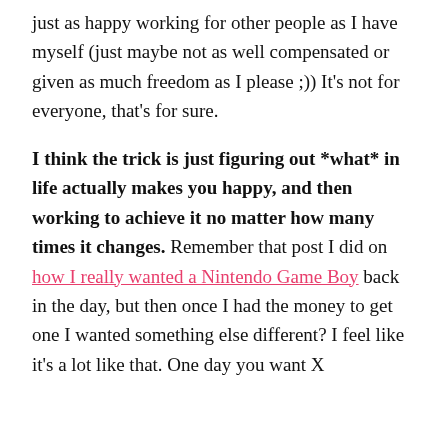just as happy working for other people as I have myself (just maybe not as well compensated or given as much freedom as I please ;)) It's not for everyone, that's for sure.
I think the trick is just figuring out *what* in life actually makes you happy, and then working to achieve it no matter how many times it changes. Remember that post I did on how I really wanted a Nintendo Game Boy back in the day, but then once I had the money to get one I wanted something else different? I feel like it's a lot like that. One day you want X